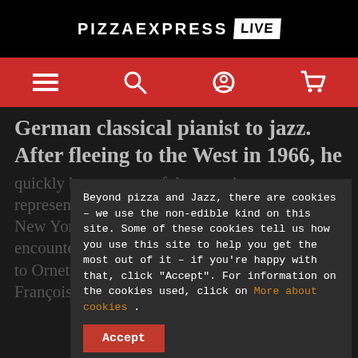PIZZAEXPRESS LIVE
[Figure (screenshot): Navigation bar with hamburger menu, search, account, and cart icons on red background]
German classical pianist to jazz. After fleeing to the West in 1966, he quickly became one of the most important representatives of the jazz... Paris, Los Angeles, New York and Hamburg, constantly seeking encounters with the most diverse of musicians to... to Ornette Coleman, Archie Shepp, Jean-François Jenny-Clark, Daniel
Beyond pizza and Jazz, there are cookies – we use the non-edible kind on this site. Some of these cookies tell us how you use this site to help you get the most out of it – if you're happy with that, click "Accept". For information on the cookies used, click on More about cookies .
Accept